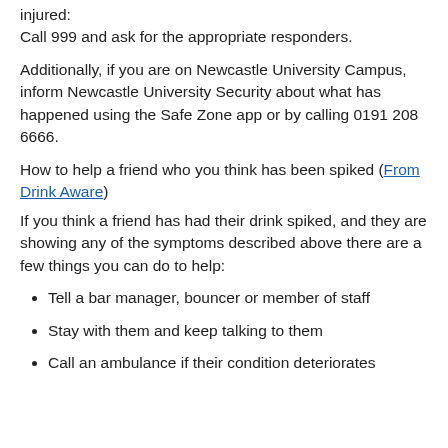injured:
Call 999 and ask for the appropriate responders.
Additionally, if you are on Newcastle University Campus, inform Newcastle University Security about what has happened using the Safe Zone app or by calling 0191 208 6666.
How to help a friend who you think has been spiked (From Drink Aware)
If you think a friend has had their drink spiked, and they are showing any of the symptoms described above there are a few things you can do to help:
Tell a bar manager, bouncer or member of staff
Stay with them and keep talking to them
Call an ambulance if their condition deteriorates